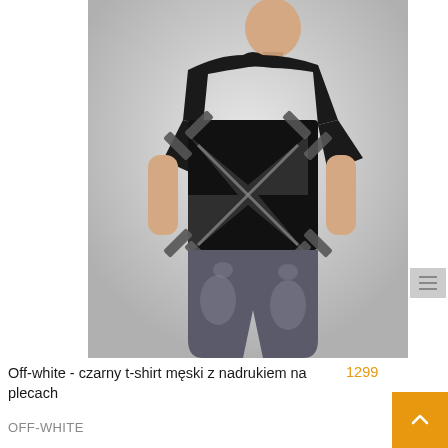[Figure (photo): Man seen from the back wearing a black Off-White t-shirt with large arrow/cross graphic print on the back, paired with distressed grey jeans. Background is light grey.]
Off-white - czarny t-shirt męski z nadrukiem na plecach
1299
OFF-WHITE